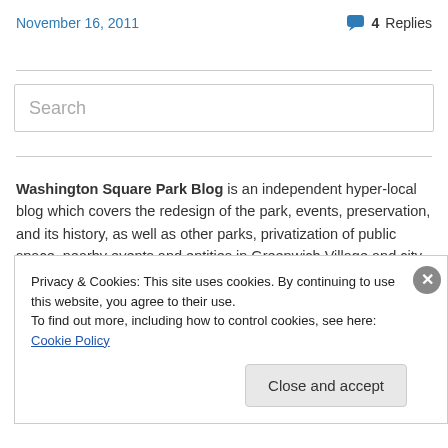November 16, 2011
4 Replies
Search
Washington Square Park Blog is an independent hyper-local blog which covers the redesign of the park, events, preservation, and its history, as well as other parks, privatization of public space, nearby events and entities in Greenwich Village and city-wide. Updated typically
Privacy & Cookies: This site uses cookies. By continuing to use this website, you agree to their use.
To find out more, including how to control cookies, see here: Cookie Policy
Close and accept